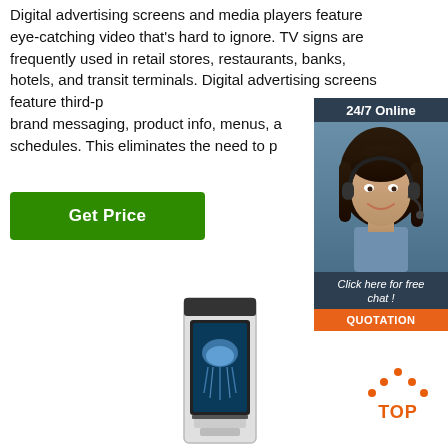Digital advertising screens and media players feature eye-catching video that's hard to ignore. TV signs are frequently used in retail stores, restaurants, banks, hotels, and transit terminals. Digital advertising screens feature third-party brand messaging, product info, menus, and schedules. This eliminates the need to p...
Get Price
[Figure (infographic): 24/7 Online chat widget with a female customer service agent wearing a headset, dark navy background, orange QUOTATION button and italic 'Click here for free chat!' text]
[Figure (photo): A white digital signage kiosk with a vertical screen displaying a jellyfish image]
[Figure (other): Orange TOP arrow/button icon with dots forming an upward arrow above the word TOP]